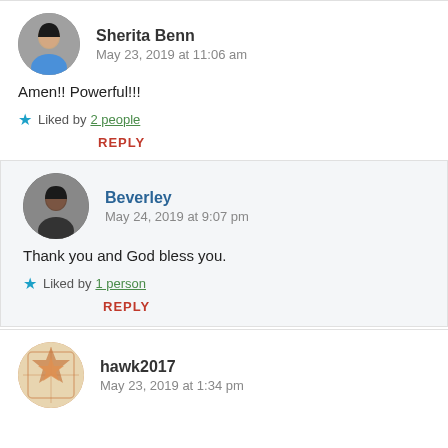Sherita Benn
May 23, 2019 at 11:06 am
Amen!! Powerful!!!
★ Liked by 2 people
REPLY
Beverley
May 24, 2019 at 9:07 pm
Thank you and God bless you.
★ Liked by 1 person
REPLY
hawk2017
May 23, 2019 at 1:34 pm